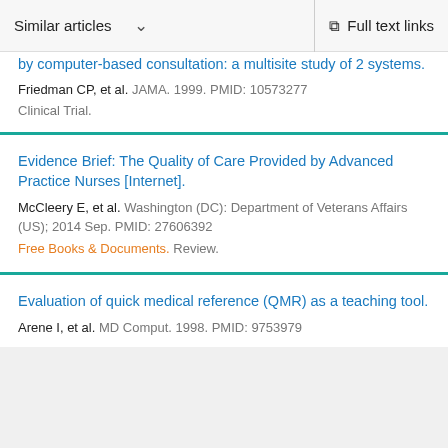Similar articles   Full text links
by computer-based consultation: a multisite study of 2 systems.
Friedman CP, et al. JAMA. 1999. PMID: 10573277
Clinical Trial.
Evidence Brief: The Quality of Care Provided by Advanced Practice Nurses [Internet].
McCleery E, et al. Washington (DC): Department of Veterans Affairs (US); 2014 Sep. PMID: 27606392
Free Books & Documents. Review.
Evaluation of quick medical reference (QMR) as a teaching tool.
Arene I, et al. MD Comput. 1998. PMID: 9753979